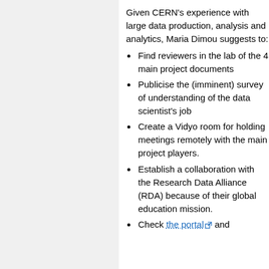Given CERN's experience with large data production, analysis and analytics, Maria Dimou suggests to:
Find reviewers in the lab of the 4 main project documents
Publicise the (imminent) survey of understanding of the data scientist's job
Create a Vidyo room for holding meetings remotely with the main project players.
Establish a collaboration with the Research Data Alliance (RDA) because of their global education mission.
Check the portal and about it...